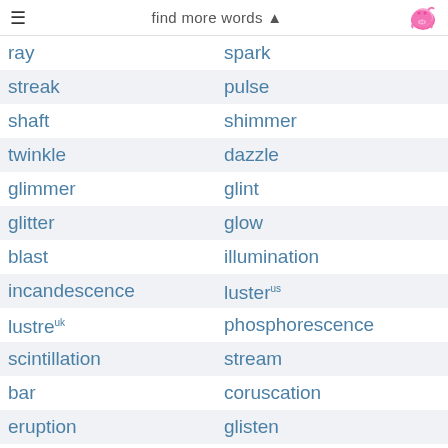≡   find more words ▲
ray | spark
streak | pulse
shaft | shimmer
twinkle | dazzle
glimmer | glint
glitter | glow
blast | illumination
incandescence | lusterus
lustreuk | phosphorescence
scintillation | stream
bar | coruscation
eruption | glisten
shine | bedazzlement
finger | flame
radiation | reflection